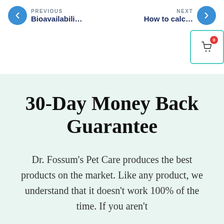PREVIOUS  Bioavailabili…  How to calc…  NEXT
[Figure (screenshot): Navigation bar with previous (left arrow) and next (right arrow) blue circle buttons, with a cart icon box (badge showing 0) at top right]
30-Day Money Back Guarantee
Dr. Fossum's Pet Care produces the best products on the market. Like any product, we understand that it doesn't work 100% of the time. If you aren't